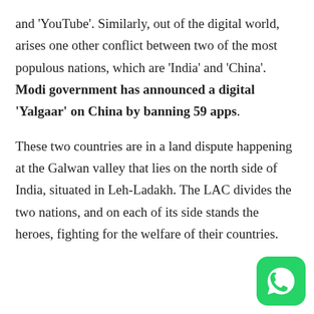and 'YouTube'. Similarly, out of the digital world, arises one other conflict between two of the most populous nations, which are 'India' and 'China'. Modi government has announced a digital 'Yalgaar' on China by banning 59 apps. These two countries are in a land dispute happening at the Galwan valley that lies on the north side of India, situated in Leh-Ladakh. The LAC divides the two nations, and on each of its side stands the heroes, fighting for the welfare of their countries.
[Figure (logo): WhatsApp logo icon — white phone handset on green rounded-square background]